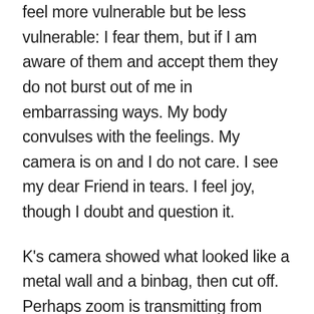feel more vulnerable but be less vulnerable: I fear them, but if I am aware of them and accept them they do not burst out of me in embarrassing ways. My body convulses with the feelings. My camera is on and I do not care. I see my dear Friend in tears. I feel joy, though I doubt and question it.
K's camera showed what looked like a metal wall and a binbag, then cut off. Perhaps zoom is transmitting from another universe.
I am not, of course, overwhelmed. I am still sitting. My body has moved in waves. My face has